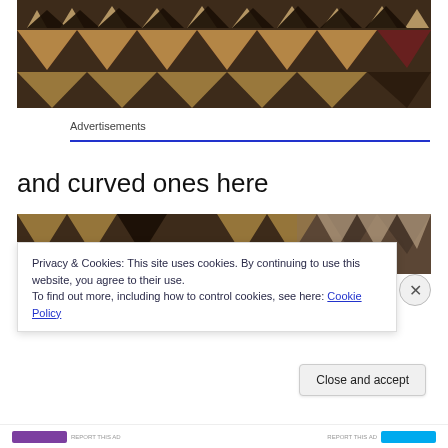[Figure (photo): Close-up photograph of a decorative mosaic or tiled surface with triangular patterns in dark red/maroon, black, and tan/beige colors]
Advertisements
and curved ones here
[Figure (photo): Partial photograph of a decorative mosaic or tiled surface similar to the one above]
Privacy & Cookies: This site uses cookies. By continuing to use this website, you agree to their use.
To find out more, including how to control cookies, see here: Cookie Policy
Close and accept